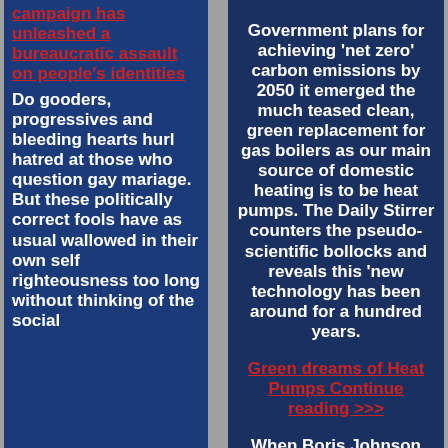campaign has unleashed a bureaucratic assault on people's identities
Do gooders, progressives and bleeding hearts hurl hatred at those who question gay mariage. But these politically correct fools have as usual wallowed in their own self righteousness too long without thinking of the social
Government plans for achieving 'net zero' carbon emissions by 2050 it emerged the much teased clean, green replacement for gas boilers as our main source of domestic heating is to be heat pumps. The Daily Stirrer counters the pseudo-scientific bollocks and reveals this 'new technology has been around for a hundred years.
Green dreams of Heat Pumps Continue reading >>>
When Boris Johnson revealed the UK